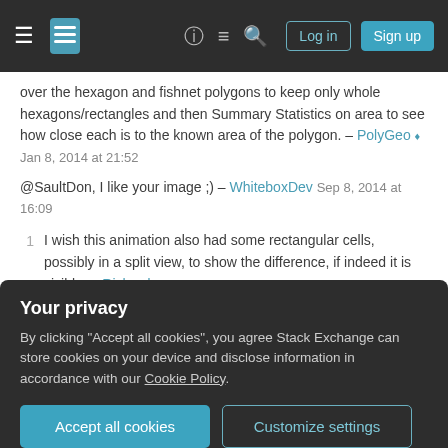Stack Exchange navigation bar with hamburger menu, logo, help, chat, search icons, Log in and Sign up buttons
over the hexagon and fishnet polygons to keep only whole hexagons/rectangles and then Summary Statistics on area to see how close each is to the known area of the polygon. – PolyGeo ♦ Jan 8, 2014 at 21:52
@SaultDon, I like your image ;) – WhiteboxDev Sep 8, 2014 at 16:09
1   I wish this animation also had some rectangular cells, possibly in a split view, to show the difference, if indeed it is visible. – Richard Aug 16, 2017 at 2:17
1   There are also some papers out of the spatial stats
Your privacy
By clicking "Accept all cookies", you agree Stack Exchange can store cookies on your device and disclose information in accordance with our Cookie Policy.
Accept all cookies   Customize settings
The hexagon is the most complex regular polygon